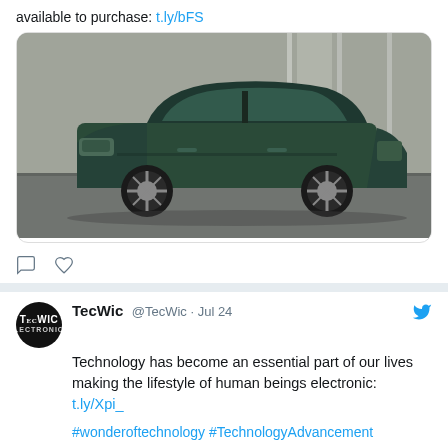available to purchase: t.ly/bFS
[Figure (photo): A green electric SUV concept car parked in a modern architectural setting with large concrete/glass panels in the background.]
TecWic @TecWic · Jul 24
Technology has become an essential part of our lives making the lifestyle of human beings electronic: t.ly/Xpi_

#wonderoftechnology #TechnologyAdvancement #TechnologyEra #advancementthroughtechnology #connectingworld #technologynewsupdates